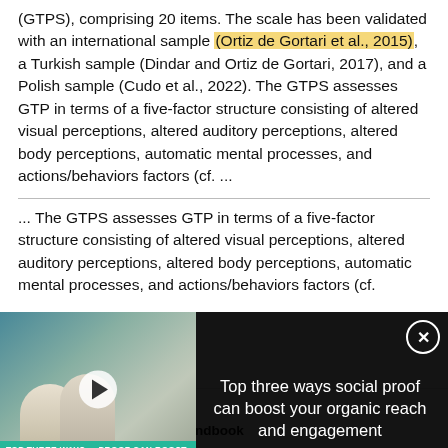(GTPS), comprising 20 items. The scale has been validated with an international sample (Ortiz de Gortari et al., 2015), a Turkish sample (Dindar and Ortiz de Gortari, 2017), and a Polish sample (Cudo et al., 2022). The GTPS assesses GTP in terms of a five-factor structure consisting of altered visual perceptions, altered auditory perceptions, altered body perceptions, automatic mental processes, and actions/behaviors factors (cf. ...
... The GTPS assesses GTP in terms of a five-factor structure consisting of altered visual perceptions, altered auditory perceptions, altered body perceptions, automatic mental processes, and actions/behaviors factors (cf.
[Figure (screenshot): Video overlay banner with dark background showing a lab scene video thumbnail on the left with play button and text 'TOP THREE WAYS ... PROOF CAN BOOST YOUR ORGANIC R... AND ENGAGEMENT', and on the right in white text: 'Top three ways social proof can boost your organic reach and engagement' with a close button (X) in top right corner.]
[Figure (photo): Advertisement showing a Neurobiology Handbook book cover (blue neuron image) alongside ThermoFisher Scientific logo and bold text 'Neurobiology Handbook']